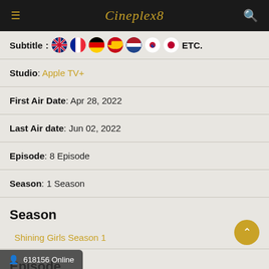Cineplex8
Subtitle: [flag icons] ETC.
Studio: Apple TV+
First Air Date: Apr 28, 2022
Last Air date: Jun 02, 2022
Episode: 8 Episode
Season: 1 Season
Season
Shining Girls Season 1
Episode
618156 Online